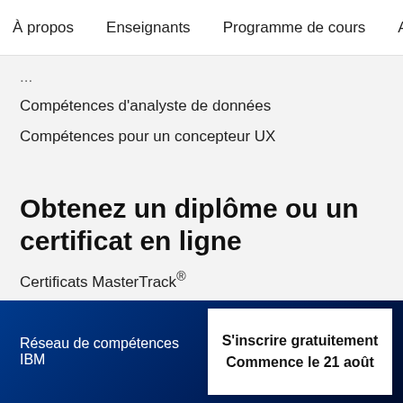À propos   Enseignants   Programme de cours   Avis   Op
Compétences d'analyste de données
Compétences pour un concepteur UX
Obtenez un diplôme ou un certificat en ligne
Certificats MasterTrack®
Certificats Professionnels
Certificats d'université
Réseau de compétences IBM
S'inscrire gratuitement
Commence le 21 août